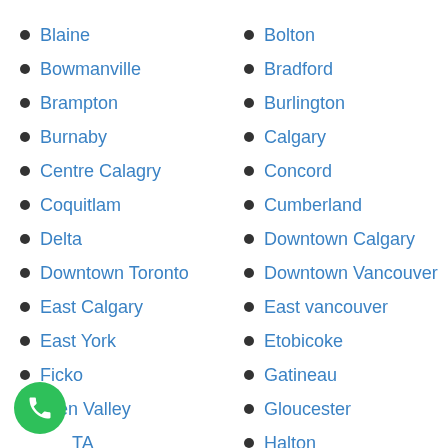Blaine
Bolton
Bowmanville
Bradford
Brampton
Burlington
Burnaby
Calgary
Centre Calagry
Concord
Coquitlam
Cumberland
Delta
Downtown Calgary
Downtown Toronto
Downtown Vancouver
East Calgary
East vancouver
East York
Etobicoke
Ficko
Gatineau
Glen Valley
Gloucester
...TA
Halton
...amille
...ici...